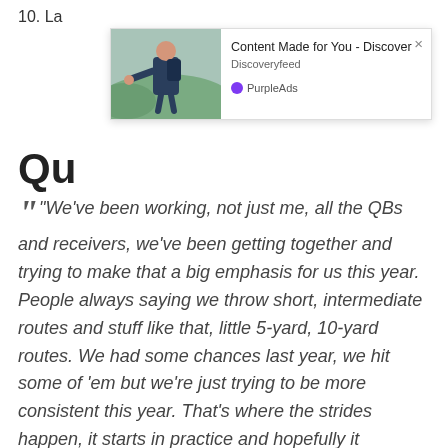10. La...
[Figure (screenshot): Advertisement overlay showing a photo of a man with a backpack reaching out his hand against a green landscape background. Text reads: 'Content Made for You - Discover / Discoveryfeed' with PurpleAds branding and an X close button.]
Qu...
“We’ve been working, not just me, all the QBs and receivers, we’ve been getting together and trying to make that a big emphasis for us this year. People always saying we throw short, intermediate routes and stuff like that, little 5-yard, 10-yard routes. We had some chances last year, we hit some of ’em but we’re just trying to be more consistent this year. That’s where the strides happen, it starts in practice and hopefully it transitions to the game. Just gotta keep working on it.”